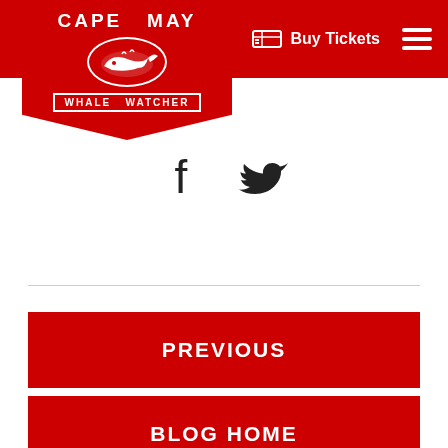[Figure (logo): Cape May Whale Watcher logo on red background with pentagon/chevron shape]
Buy Tickets
RE THIS ARTICLE
[Figure (infographic): Facebook and Twitter social media share icons]
PREVIOUS
BLOG HOME
NEXT